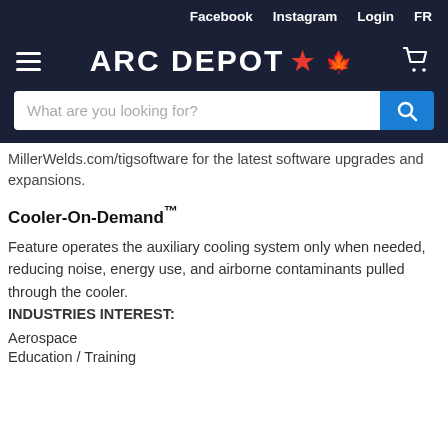Facebook   Instagram   Login   FR
[Figure (logo): Arc Depot logo with maple leaf on dark navy background, with hamburger menu and cart icon]
[Figure (screenshot): Search bar with placeholder text 'What are you looking for?' and blue search button]
MillerWelds.com/tigsoftware for the latest software upgrades and expansions.
Cooler-On-Demand™
Feature operates the auxiliary cooling system only when needed, reducing noise, energy use, and airborne contaminants pulled through the cooler.
INDUSTRIES INTEREST:
Aerospace
Education / Training